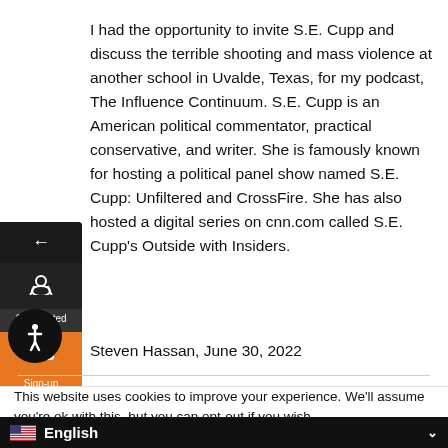I had the opportunity to invite S.E. Cupp and discuss the terrible shooting and mass violence at another school in Uvalde, Texas, for my podcast, The Influence Continuum. S.E. Cupp is an American political commentator, practical conservative, and writer. She is famously known for hosting a political panel show named S.E. Cupp: Unfiltered and CrossFire. She has also hosted a digital series on cnn.com called S.E. Cupp's Outside with Insiders.
Steven Hassan, June 30, 2022
This website uses cookies to improve your experience. We'll assume you're ok with this, but you can opt-out if you wish.